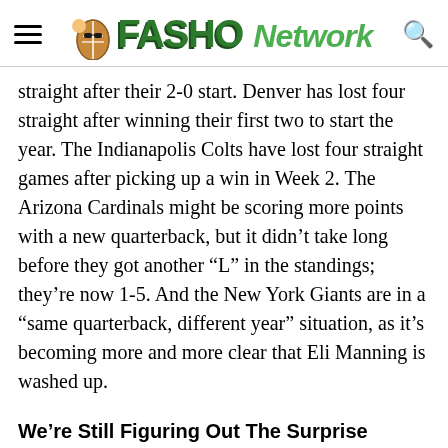FASHO Network
straight after their 2-0 start. Denver has lost four straight after winning their first two to start the year. The Indianapolis Colts have lost four straight games after picking up a win in Week 2. The Arizona Cardinals might be scoring more points with a new quarterback, but it didn't take long before they got another “L” in the standings; they’re now 1-5. And the New York Giants are in a “same quarterback, different year” situation, as it’s becoming more and more clear that Eli Manning is washed up.
We’re Still Figuring Out The Surprise Teams For 2018
After losing two straight games after their 3-0 start, we assumed the Miami Dolphins were a September flash in